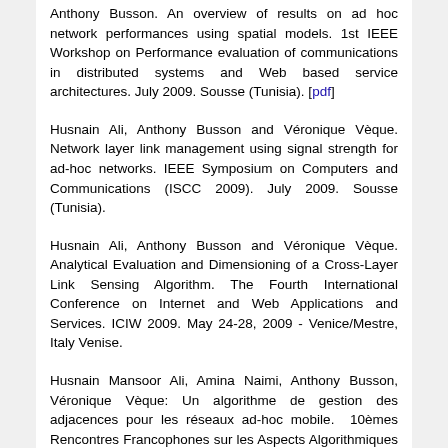Anthony Busson. An overview of results on ad hoc network performances using spatial models. 1st IEEE Workshop on Performance evaluation of communications in distributed systems and Web based service architectures. July 2009. Sousse (Tunisia). [pdf]
Husnain Ali, Anthony Busson and Véronique Vèque. Network layer link management using signal strength for ad-hoc networks. IEEE Symposium on Computers and Communications (ISCC 2009). July 2009. Sousse (Tunisia).
Husnain Ali, Anthony Busson and Véronique Vèque. Analytical Evaluation and Dimensioning of a Cross-Layer Link Sensing Algorithm. The Fourth International Conference on Internet and Web Applications and Services. ICIW 2009. May 24-28, 2009 - Venice/Mestre, Italy Venise.
Husnain Mansoor Ali, Amina Naimi, Anthony Busson, Véronique Vèque: Un algorithme de gestion des adjacences pour les réseaux ad-hoc mobile.  10èmes Rencontres Francophones sur les Aspects Algorithmiques de Télécommunications. Mai 2008. Saint Malo. France.  [pdf]
M. Mabiala, A. Busson and V. Vèque. On the capacity of Vehicular ad hoc Networks.Ubiroads 2007 workshop of the